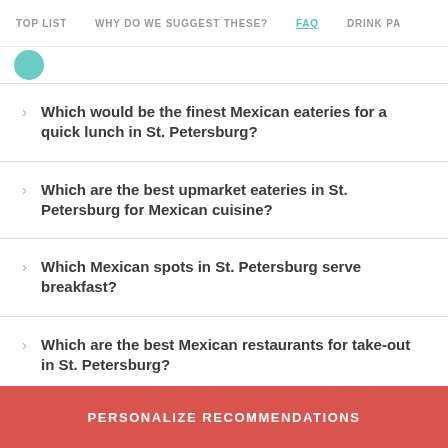TOP LIST   WHY DO WE SUGGEST THESE?   FAQ   DRINK PA
Which would be the finest Mexican eateries for a quick lunch in St. Petersburg?
Which are the best upmarket eateries in St. Petersburg for Mexican cuisine?
Which Mexican spots in St. Petersburg serve breakfast?
Which are the best Mexican restaurants for take-out in St. Petersburg?
PERSONALIZE RECOMMENDATIONS